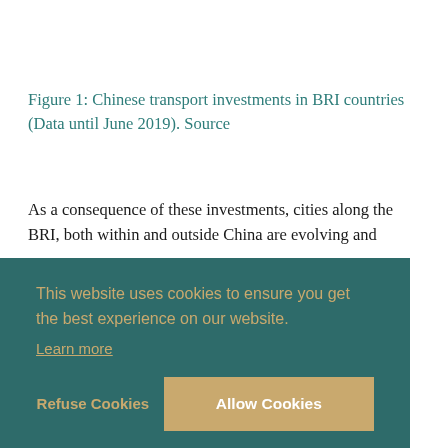Figure 1: Chinese transport investments in BRI countries (Data until June 2019). Source
As a consequence of these investments, cities along the BRI, both within and outside China are evolving and [text continues behind cookie overlay] ...re ...es, ...her ...ng ...(e.g. ...even
"best in class scenarios" seem insufficient to lower